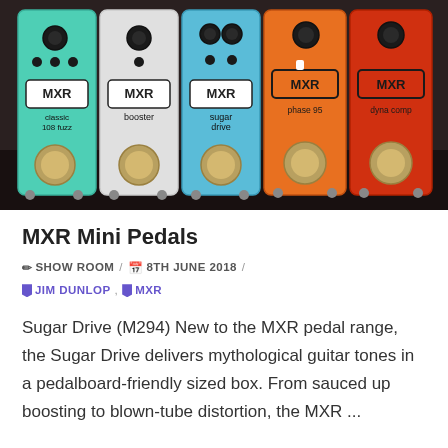[Figure (photo): Five MXR mini guitar pedals lined up side by side: classic 108 fuzz (green glitter), booster (silver/white), sugar drive (light blue), phase 95 (orange), dyna comp (red/orange)]
MXR Mini Pedals
✏ SHOW ROOM / 📅 8TH JUNE 2018 / 🔖 JIM DUNLOP, 🔖 MXR
Sugar Drive (M294) New to the MXR pedal range, the Sugar Drive delivers mythological guitar tones in a pedalboard-friendly sized box. From sauced up boosting to blown-tube distortion, the MXR ...